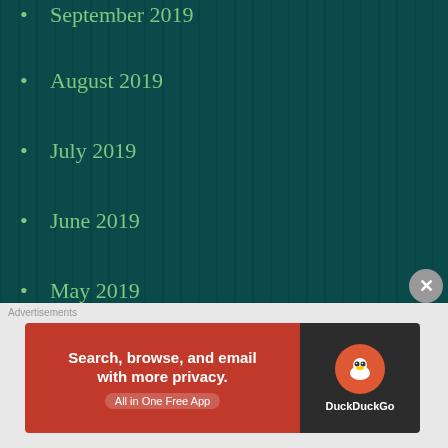September 2019
August 2019
July 2019
June 2019
May 2019
April 2019
March 2019
February 2019
January 2019
December 2018
November 2018
October 2018
September 2018
[Figure (photo): Small red thumbnail image in right column]
Br... ro... pa...
Advertisements
[Figure (screenshot): DuckDuckGo advertisement banner: Search, browse, and email with more privacy. All in One Free App]